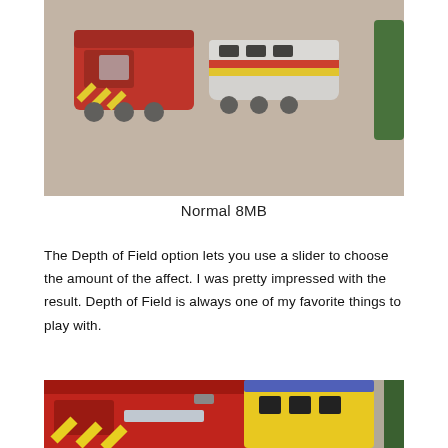[Figure (photo): Toy trains on a carpet surface — a red locomotive on the left and a grey/silver train in the center, with a partial green object on the right. Photographed from above at close range.]
Normal 8MB
The Depth of Field option lets you use a slider to choose the amount of the affect. I was pretty impressed with the result. Depth of Field is always one of my favorite things to play with.
[Figure (photo): Close-up photo of toy trains — a large red locomotive in the foreground (left), a yellow and blue train in the background (right), with a green object partially visible on the far right. The red train fills most of the frame.]